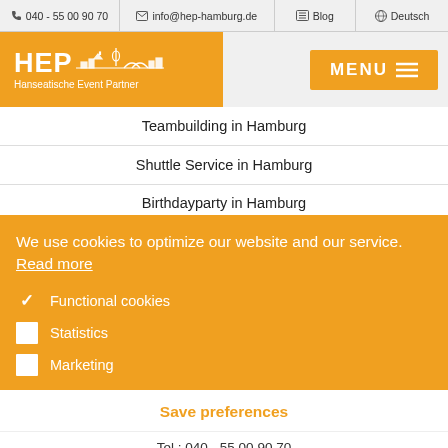040 - 55 00 90 70  info@hep-hamburg.de  Blog  Deutsch
[Figure (logo): HEP Hanseatische Event Partner logo with Hamburg skyline silhouette in white on orange background, plus orange MENU button]
Teambuilding in Hamburg
Shuttle Service in Hamburg
Birthdayparty in Hamburg
We use cookies to optimize our website and our service.  Read more
✓ Functional cookies
☐ Statistics
☐ Marketing
Save preferences
Tel.: 040 - 55 00 90 70